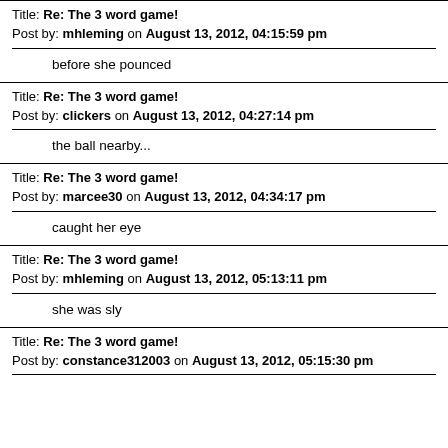Title: Re: The 3 word game!
Post by: mhleming on August 13, 2012, 04:15:59 pm
before she pounced
Title: Re: The 3 word game!
Post by: clickers on August 13, 2012, 04:27:14 pm
the ball nearby...
Title: Re: The 3 word game!
Post by: marcee30 on August 13, 2012, 04:34:17 pm
caught her eye
Title: Re: The 3 word game!
Post by: mhleming on August 13, 2012, 05:13:11 pm
she was sly
Title: Re: The 3 word game!
Post by: constance312003 on August 13, 2012, 05:15:30 pm